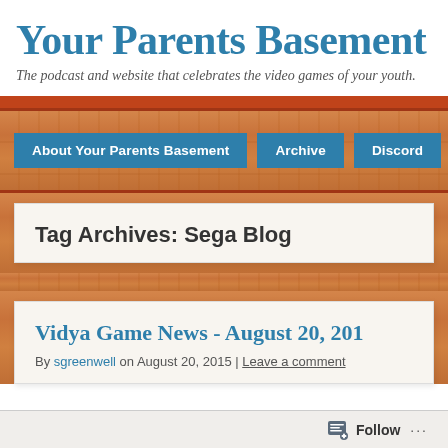Your Parents Basement
The podcast and website that celebrates the video games of your youth.
About Your Parents Basement
Archive
Discord
Tag Archives: Sega Blog
Vidya Game News - August 20, 201…
By sgreenwell on August 20, 2015 | Leave a comment
Follow